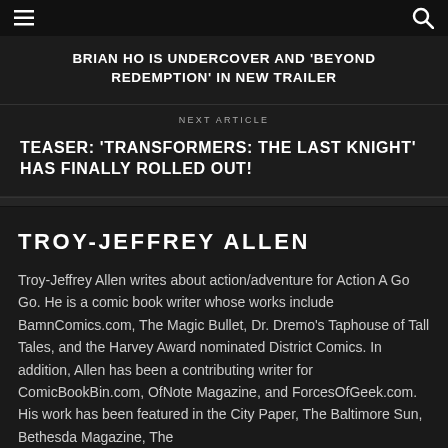☰ [menu] [search]
BRIAN HO IS UNDERCOVER AND 'BEYOND REDEMPTION' IN NEW TRAILER
NEXT ARTICLE
TEASER: 'TRANSFORMERS: THE LAST KNIGHT' HAS FINALLY ROLLED OUT!
TROY-JEFFREY ALLEN
Troy-Jeffrey Allen writes about action/adventure for Action A Go Go. He is a comic book writer whose works include BamnComics.com, The Magic Bullet, Dr. Dremo's Taphouse of Tall Tales, and the Harvey Award nominated District Comics. In addition, Allen has been a contributing writer for ComicBookBin.com, OfNote Magazine, and ForcesOfGeek.com. His work has been featured in the City Paper, The Baltimore Sun, Bethesda Magazine, The